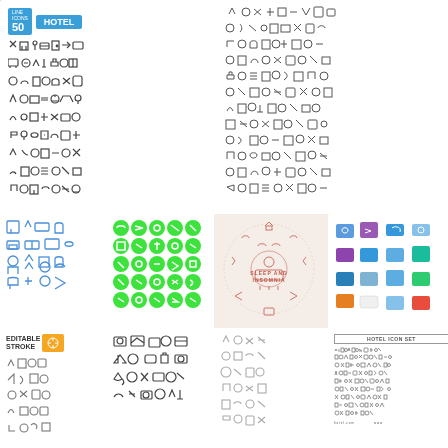[Figure (illustration): Hotel icon set with '50 LINE ICONS HOTEL' badge and grid of hotel-related line icons in dark gray]
[Figure (illustration): Large grid of small line icons related to hotel/travel/amenities in dark gray outline style]
[Figure (illustration): Hotel/bedroom line icons in blue color on white background, 4x5 grid]
[Figure (illustration): Grid of 25 bright green circular icon buttons arranged 5x5]
[Figure (illustration): Sleep and Insomnia icon set arranged in circular shape with red/pink outline icons and text 'SLEEP AND INSOMNIA']
[Figure (illustration): Colorful sleep-related icons on white background, grid layout]
[Figure (illustration): Hotel icon set with 'EDITABLE STROKE' badge in orange, line icons in gray]
[Figure (illustration): Travel/camera/transport line icons in dark gray, 4x4 grid]
[Figure (illustration): Travel/hotel line icons in light gray, 4x4 grid]
[Figure (illustration): Hotel icon set with 'HOTEL ICON SET' title in bordered box, tiny icon grid below]
[Figure (illustration): Bottom left partial panel with black icons on white]
[Figure (illustration): Bottom center partial panel with line icons]
[Figure (illustration): Bottom center-right partial panel with icons]